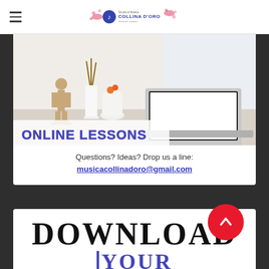Scuola di Musica Collina D'Oro
[Figure (photo): Photo of a laptop on a white desk with a wooden mannequin figurine and white vases, with text overlay 'ONLINE LESSONS' in bold blue/purple letters]
Questions? Ideas? Drop us a line:
musicacollinadoro@gmail.com
DOWNLOAD
YOUR